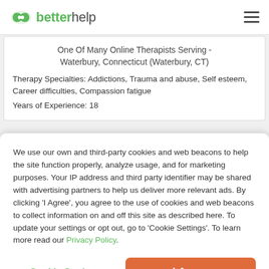betterhelp
One Of Many Online Therapists Serving - Waterbury, Connecticut (Waterbury, CT)
Therapy Specialties: Addictions, Trauma and abuse, Self esteem, Career difficulties, Compassion fatigue
Years of Experience: 18
We use our own and third-party cookies and web beacons to help the site function properly, analyze usage, and for marketing purposes. Your IP address and third party identifier may be shared with advertising partners to help us deliver more relevant ads. By clicking 'I Agree', you agree to the use of cookies and web beacons to collect information on and off this site as described here. To update your settings or opt out, go to 'Cookie Settings'. To learn more read our Privacy Policy.
Cookie Settings
I Agree